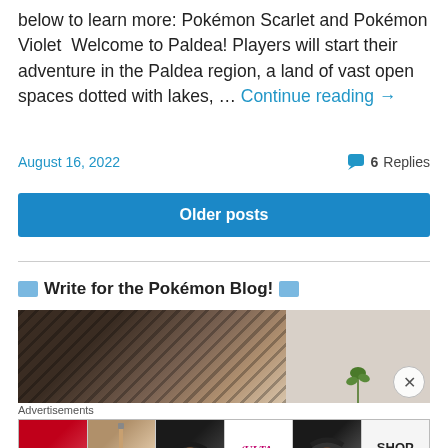below to learn more: Pokémon Scarlet and Pokémon Violet  Welcome to Paldea! Players will start their adventure in the Paldea region, a land of vast open spaces dotted with lakes, … Continue reading →
August 16, 2022
💬 6 Replies
Older posts
💻 Write for the Pokémon Blog! 💻
[Figure (photo): Photo of a person in a plaid shirt, with a light background and a plant on the right side. An ad overlay with beauty products (Ulta) appears at the bottom with a close button.]
Advertisements